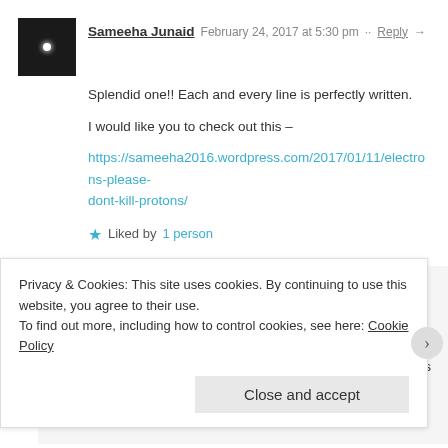Sameeha Junaid  February 24, 2017 at 5:30 pm  ··  Reply →
Splendid one!! Each and every line is perfectly written.
I would like you to check out this –
https://sameeha2016.wordpress.com/2017/01/11/electrons-please-dont-kill-protons/
★ Liked by 1 person
Maniparna Sengupta Majumder  March 10, 2017 at 2:41 am ··  Reply →
Thanks a lot, Sameeha, for the link and for the words of appreciation. Will surely check the post …:-)
Privacy & Cookies: This site uses cookies. By continuing to use this website, you agree to their use.
To find out more, including how to control cookies, see here: Cookie Policy
Close and accept